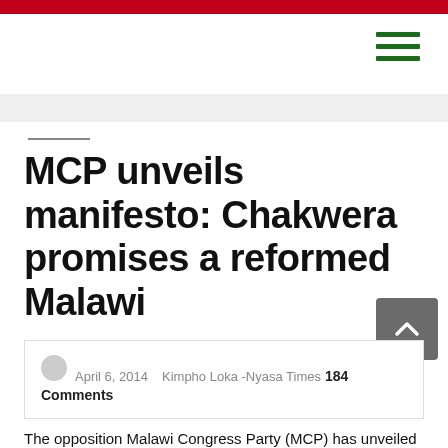MCP unveils manifesto: Chakwera promises a reformed Malawi
April 6, 2014   Kimpho Loka -Nyasa Times  184 Comments
The opposition Malawi Congress Party (MCP) has unveiled its electoral promises, through their manifesto ahead of next month's tripartite polls, promising seven key